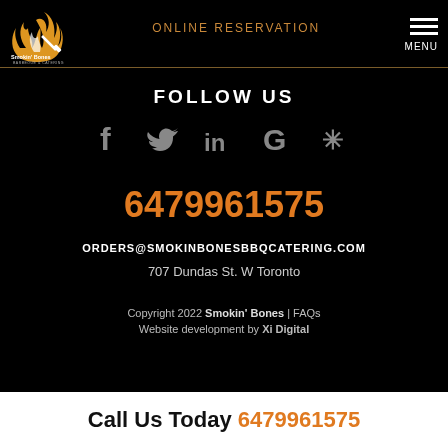[Figure (logo): Smokin' Bones Barbeque & Catering logo with flame graphic]
ONLINE RESERVATION
MENU
FOLLOW US
[Figure (illustration): Social media icons: Facebook, Twitter, LinkedIn, Google, Yelp]
6479961575
ORDERS@SMOKINBONESBBQCATERING.COM
707 Dundas St. W Toronto
Copyright 2022 Smokin' Bones | FAQs
Website development by Xi Digital
Call Us Today 6479961575